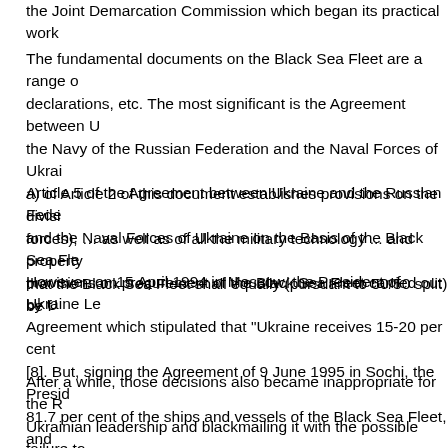the Joint Demarcation Commission which began its practical work
The fundamental documents on the Black Sea Fleet are a range of declarations, etc. The most significant is the Agreement between U the Navy of the Russian Federation and the Naval Forces of Ukrai a) of Article 2 of this document establishes provisions on the divisi forces), … as well as of all the military technology ... and property that the Black Sea Fleet shall equally (pursuant to 50/50 split) be f
Article 5 of the Agreement between Ukraine and the Russian Fede and the Naval Forces of Ukraine on the Basis of the Black Sea Fle provisions on procurement of the Black Sea Fleet carried out by U
However, on 15 April 1994 in Moscow, the President of Ukraine Le Agreement which stipulated that "Ukraine receives 15-20 per cent [8]. But, signing the Agreement of 9 June 1995 in Sochi, the Presid 81.7 per cent of the ships and vessels of the Black Sea Fleet, and
After a while, those decisions also became inappropriate for the R Ukrainian leadership and blackmailing it with the possible failure to above-mentioned arrangements. As a result, on 28 May 1997 the p between Ukraine and the Russian Federation on the Parameters o